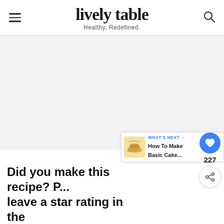lively table — Healthy, Redefined.
[Figure (photo): Large light gray placeholder image area for a recipe photo]
227
WHAT'S NEXT → How To Make Basic Cake...
Did you make this recipe? P... leave a star rating in the